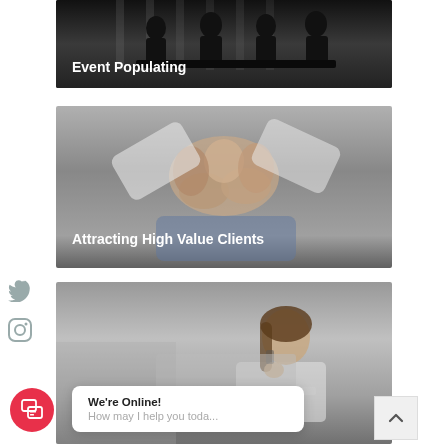[Figure (photo): Black and white photo of silhouettes of people in a meeting room, with the text 'Event Populating' overlaid in white bold font]
[Figure (photo): Photo of multiple hands clasped together in a team gesture, with the text 'Attracting High Value Clients' overlaid in white bold font]
[Figure (photo): Photo of a woman on the phone looking at a laptop, with the text '5 Ways To Warm Up Cold Leads' overlaid in white bold font]
We're Online!
How may I help you toda...